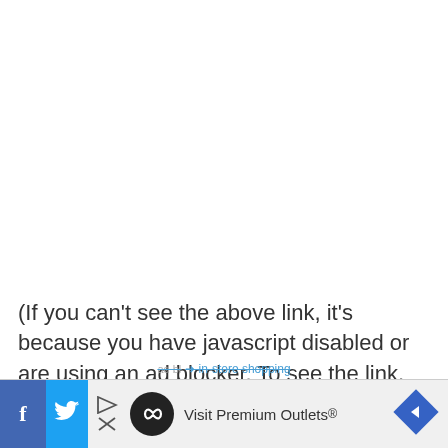(If you can't see the above link, it's because you have javascript disabled or are using an ad blocker. To see the link, simply re-enable javascript or deactivate your
[Figure (screenshot): Advertisement banner at the bottom of the page showing social media icons (Facebook, Twitter), a play button, an X button, a black circle with infinity symbol, text 'Visit Premium Outlets®', and a blue diamond navigation arrow. A partially visible strikethrough text 'in-store shopping' appears above the banner.]